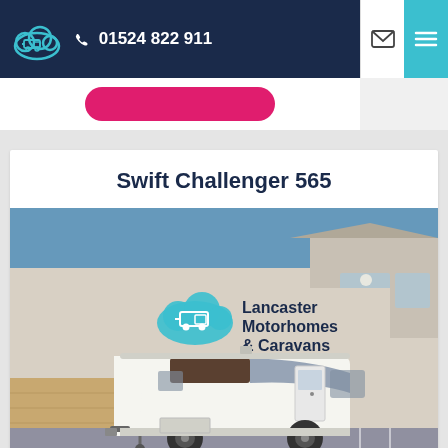01524 822 911
Swift Challenger 565
[Figure (photo): Photo of a white Swift Challenger 565 caravan parked in front of Lancaster Motorhomes & Caravans dealership building. The building has a large sign with the company logo (cloud with caravan icon) and company name. Blue sky visible in background.]